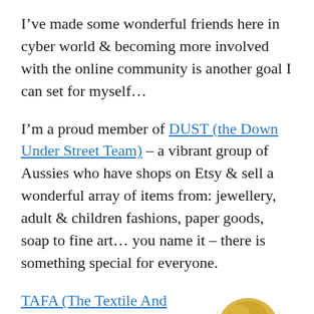I've made some wonderful friends here in cyber world & becoming more involved with the online community is another goal I can set for myself…
I'm a proud member of DUST (the Down Under Street Team) – a vibrant group of Aussies who have shops on Etsy & sell a wonderful array of items from: jewellery, adult & children fashions, paper goods, soap to fine art… you name it – there is something special for everyone.
TAFA (The Textile And Fiber Art list) membership is
[Figure (photo): Partial image of a knitted or crocheted hat/beanie in golden/yellow fiber, cropped at bottom right of page]